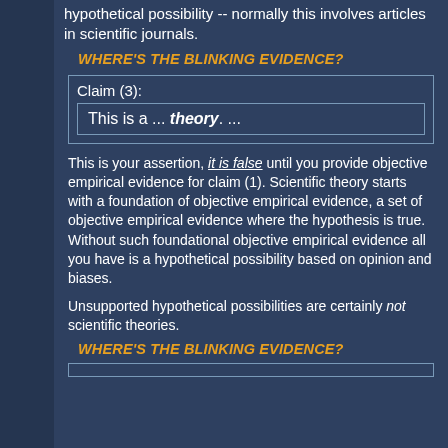hypothetical possibility -- normally this involves articles in scientific journals.
WHERE'S THE BLINKING EVIDENCE?
| Claim (3): |
| This is a ... theory. ... |
This is your assertion, it is false until you provide objective empirical evidence for claim (1). Scientific theory starts with a foundation of objective empirical evidence, a set of objective empirical evidence where the hypothesis is true. Without such foundational objective empirical evidence all you have is a hypothetical possibility based on opinion and biases.
Unsupported hypothetical possibilities are certainly not scientific theories.
WHERE'S THE BLINKING EVIDENCE?